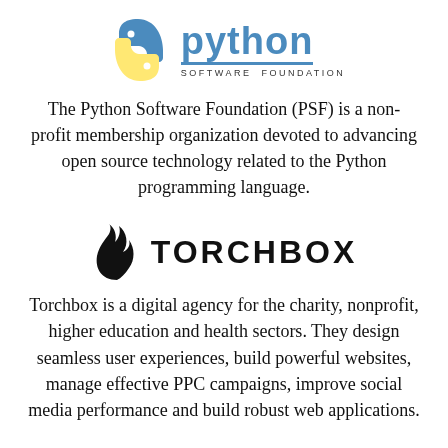[Figure (logo): Python Software Foundation logo: Python snake icon in blue and yellow, next to the word 'python' in blue with a blue underline, and 'SOFTWARE FOUNDATION' in small caps below]
The Python Software Foundation (PSF) is a non-profit membership organization devoted to advancing open source technology related to the Python programming language.
[Figure (logo): Torchbox logo: a stylized flame/torch icon in black, followed by 'TORCHBOX' in bold uppercase black letters]
Torchbox is a digital agency for the charity, nonprofit, higher education and health sectors. They design seamless user experiences, build powerful websites, manage effective PPC campaigns, improve social media performance and build robust web applications.